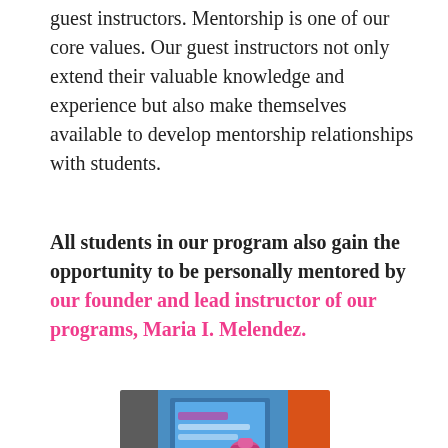guest instructors. Mentorship is one of our core values. Our guest instructors not only extend their valuable knowledge and experience but also make themselves available to develop mentorship relationships with students.
All students in our program also gain the opportunity to be personally mentored by our founder and lead instructor of our programs, Maria I. Melendez.
[Figure (photo): Photo of two women smiling together in front of a colorful screen/display with blue and orange/red background. One woman is wearing a colorful head wrap.]